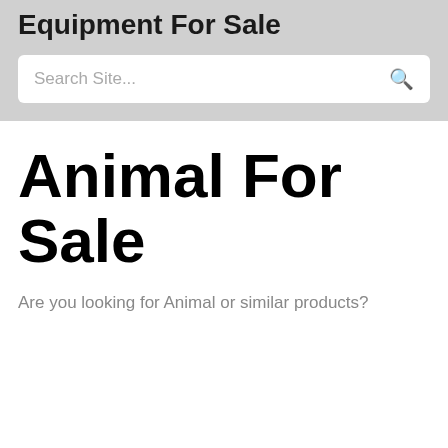Equipment For Sale
Search Site...
Animal For Sale
Are you looking for Animal or similar products?